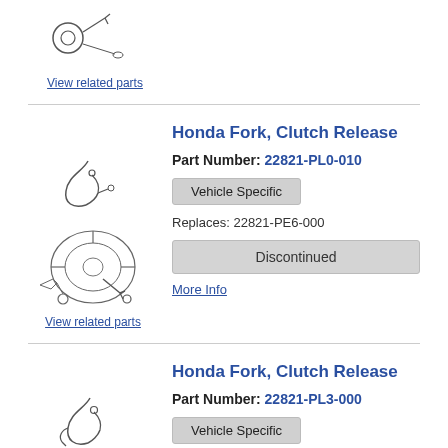[Figure (illustration): Small part illustration of clutch release components]
View related parts
Honda Fork, Clutch Release
Part Number: 22821-PL0-010
Vehicle Specific
Replaces: 22821-PE6-000
[Figure (illustration): Larger diagram showing clutch assembly with fork]
Discontinued
More Info
View related parts
Honda Fork, Clutch Release
Part Number: 22821-PL3-000
Vehicle Specific
[Figure (illustration): Small part illustration of clutch fork]